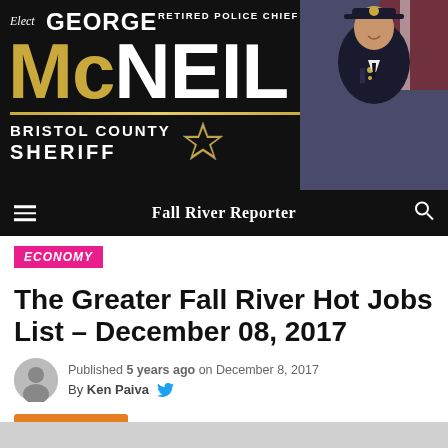[Figure (photo): Political campaign banner ad for George McNeil, Retired Police Chief, running for Bristol County Sheriff. Dark background with large yellow 'McNEIL' text, gold star badge, and photo of man in police uniform on right side.]
Fall River Reporter
ECONOMY
The Greater Fall River Hot Jobs List – December 08, 2017
Published 5 years ago on December 8, 2017
By Ken Paiva
Translate »